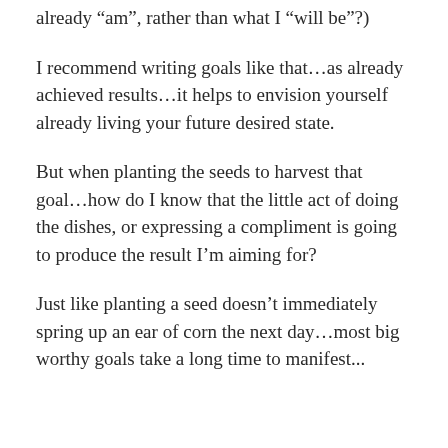already “am”, rather than what I “will be”?)
I recommend writing goals like that…as already achieved results…it helps to envision yourself already living your future desired state.
But when planting the seeds to harvest that goal…how do I know that the little act of doing the dishes, or expressing a compliment is going to produce the result I’m aiming for?
Just like planting a seed doesn’t immediately spring up an ear of corn the next day…most big worthy goals take a long time to manifest...